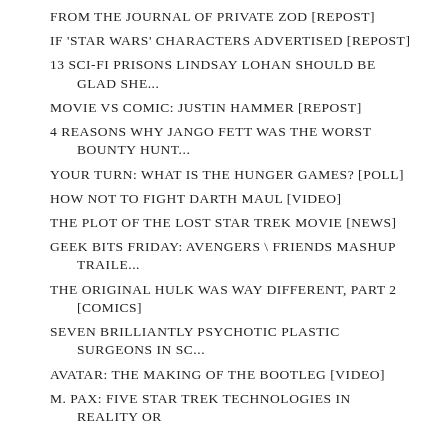FROM THE JOURNAL OF PRIVATE ZOD [REPOST]
IF 'STAR WARS' CHARACTERS ADVERTISED [REPOST]
13 SCI-FI PRISONS LINDSAY LOHAN SHOULD BE GLAD SHE...
MOVIE VS COMIC: JUSTIN HAMMER [REPOST]
4 REASONS WHY JANGO FETT WAS THE WORST BOUNTY HUNT...
YOUR TURN: WHAT IS THE HUNGER GAMES? [POLL]
HOW NOT TO FIGHT DARTH MAUL [VIDEO]
THE PLOT OF THE LOST STAR TREK MOVIE [NEWS]
GEEK BITS FRIDAY: AVENGERS \ FRIENDS MASHUP TRAILE...
THE ORIGINAL HULK WAS WAY DIFFERENT, PART 2 [COMICS]
SEVEN BRILLIANTLY PSYCHOTIC PLASTIC SURGEONS IN SC...
AVATAR: THE MAKING OF THE BOOTLEG [VIDEO]
M. PAX: FIVE STAR TREK TECHNOLOGIES IN REALITY OR